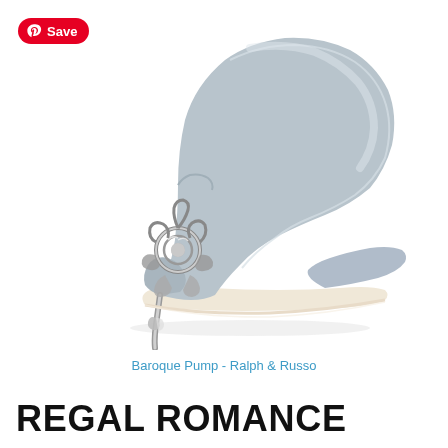[Figure (photo): A gray satin pointed-toe pump with an ornate silver baroque sculpted heel, photographed in profile against a white background. The heel features intricate scrollwork and floral metallic detailing. Product: Baroque Pump by Ralph & Russo.]
Baroque Pump - Ralph & Russo
REGAL ROMANCE